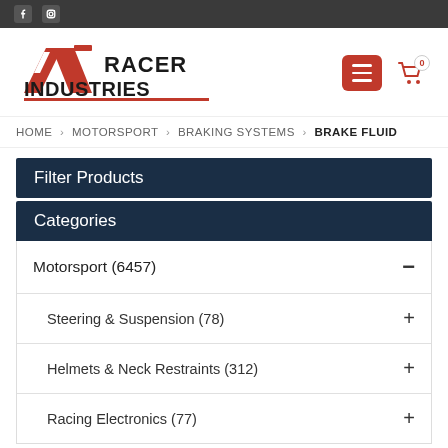Racer Industries — social icons top bar
[Figure (logo): Racer Industries logo with RI emblem in red and black]
HOME › MOTORSPORT › BRAKING SYSTEMS › BRAKE FLUID
Filter Products
Categories
Motorsport (6457) —
Steering & Suspension (78) +
Helmets & Neck Restraints (312) +
Racing Electronics (77) +